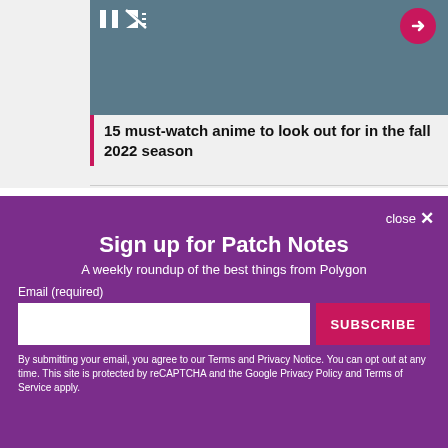[Figure (screenshot): Video player thumbnail showing a person with a guitar, with pause and mute icons on the left and a pink arrow button on the right]
15 must-watch anime to look out for in the fall 2022 season
close ✕
Sign up for Patch Notes
A weekly roundup of the best things from Polygon
Email (required)
SUBSCRIBE
By submitting your email, you agree to our Terms and Privacy Notice. You can opt out at any time. This site is protected by reCAPTCHA and the Google Privacy Policy and Terms of Service apply.